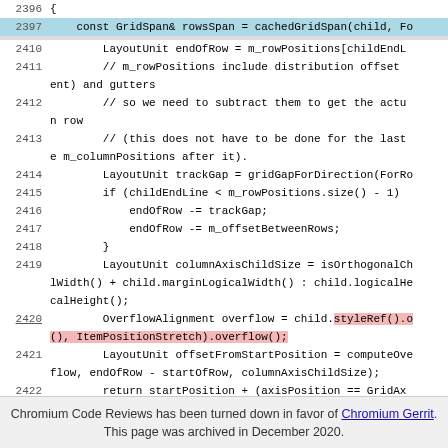[Figure (screenshot): Source code viewer showing C++ code lines 2396–2426 from Chromium code review, with line 2397 highlighted in blue and line 2420 highlighted in pink/red. Code relates to grid layout calculations including GridSpan, LayoutUnit, OverflowAlignment, and related methods.]
Chromium Code Reviews has been turned down in favor of Chromium Gerrit. This page was archived in December 2020.